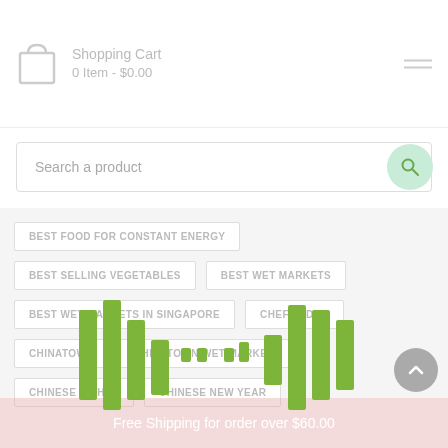Shopping Cart
0 Item - $0.00
Search a product
BEST FOOD FOR CONSTANT ENERGY
BEST SELLING VEGETABLES
BEST WET MARKETS
BEST WET MARKETS IN SINGAPORE
CHEF IN DAD
CHINATOWN
CHINATOWN WET MARKET
CHINESE DISHES
CHINESE NEW YEAR
[Figure (other): Audio/sound wave equalizer animation overlay with green vertical bars of varying heights arranged in two groups, suggesting a loading or audio playback animation]
Free Shipping for order over $60.00